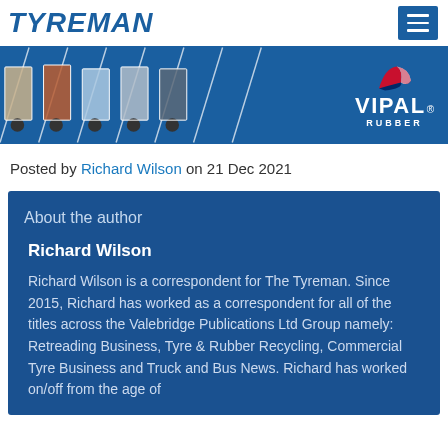TYREMAN
[Figure (illustration): Vipal Rubber banner advertisement showing truck tires/vehicles on blue background with Vipal Rubber logo on the right]
Posted by Richard Wilson on 21 Dec 2021
About the author
Richard Wilson
Richard Wilson is a correspondent for The Tyreman. Since 2015, Richard has worked as a correspondent for all of the titles across the Valebridge Publications Ltd Group namely: Retreading Business, Tyre & Rubber Recycling, Commercial Tyre Business and Truck and Bus News. Richard has worked on/off from the age of